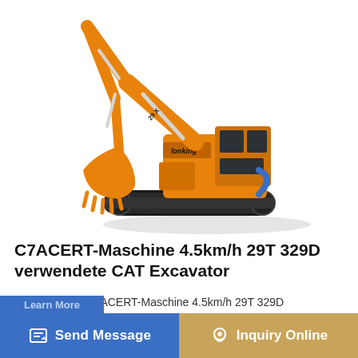[Figure (photo): Orange Lonking brand hydraulic crawler excavator (model 329D style) shown in profile view on white background, with extended boom, arm and bucket visible, crawler undercarriage, and enclosed cab.]
C7ACERT-Maschine 4.5km/h 29T 329D verwendete CAT Excavator
Hohe Qualität C7ACERT-Maschine 4.5km/h 29T 329D verwendete CAT Excavator de la Chine, 29T 4.5km/h verwendete CAT Excavator produkt, mit strenger...